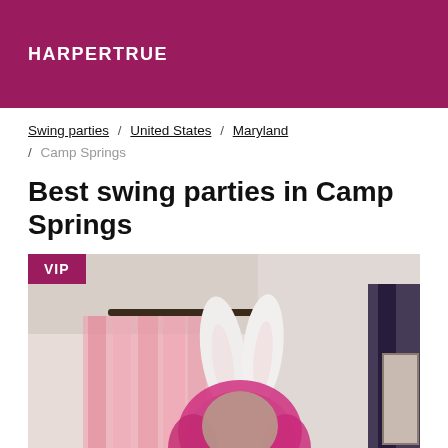HARPERTRUE
Swing parties / United States / Maryland / Camp Springs
Best swing parties in Camp Springs
[Figure (photo): Photo of a person wearing white bunny ears and a pink wig, with a pink curtain and curtain rod visible in the background. A VIP badge appears in the top-left corner of the image.]